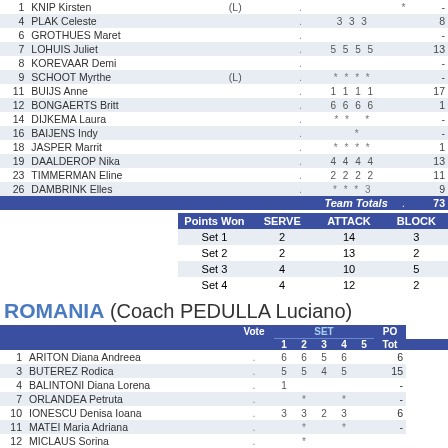| # | Name |  | Vote | 1 | 2 | 3 | 4 | 5 | Tot | Pts |
| --- | --- | --- | --- | --- | --- | --- | --- | --- | --- | --- |
| 1 | KNIP Kirsten | (L) | . | - | - | - | - |  |  | * | - |
| 4 | PLAK Celeste |  | . | - | - | - | - |  | 3 3 3 |  | 8 |
| 6 | GROTHUES Maret |  | . | - | - | - | - |  |  |  | - |
| 7 | LOHUIS Juliet |  | . | - | - | - | - |  | 5 5 5 5 |  | 13 |
| 8 | KOREVAAR Demi |  | . | - | - | - | - |  |  |  | - |
| 9 | SCHOOT Myrthe | (L) | . | - | - | - | - |  | * * * * |  | - |
| 11 | BUIJS Anne |  | . | - | - | - | - |  | 1 1 1 1 |  | 17 |
| 12 | BONGAERTS Britt |  | . | - | - | - | - |  | 6 6 6 6 |  | 1 |
| 14 | DIJKEMA Laura |  | . | - | - | - | - |  | * *   * |  | - |
| 16 | BAIJENS Indy |  | . | - | - | - | - |  |   * |  | - |
| 18 | JASPER Marrit |  | . | - | - | - | - |  | * * * * |  | 1 |
| 19 | DAALDEROP Nika |  | . | - | - | - | - |  | 4 4 4 4 |  | 13 |
| 23 | TIMMERMAN Eline |  | . | - | - | - | - |  | 2 2 2 2 |  | 11 |
| 26 | DAMBRINK Elles |  | . | - | - | - | - |  | * * * 3 |  | 9 |
|  | Team Totals |  | . | - | - | - | - |  |  |  | 73 |
| Points Won | SERVE | ATTACK | BLOCK |
| --- | --- | --- | --- |
| Set 1 | 2 | 14 | 3 |
| Set 2 | 2 | 13 | 2 |
| Set 3 | 4 | 10 | 5 |
| Set 4 | 4 | 12 | 2 |
ROMANIA (Coach PEDULLA Luciano)
| # | Name | Vote | SET 1 | 2 | 3 | 4 | 5 | Tot | Pts |
| --- | --- | --- | --- | --- | --- | --- | --- | --- | --- |
| 1 | ARITON Diana Andreea | . | 6 | 6 | 5 | 6 |  |  | 6 |
| 3 | BUTEREZ Rodica | . | 5 | 5 | 4 | 5 |  |  | 15 |
| 4 | BALINTONI Diana Lorena | . | 1 |  |  |  |  |  |  | - |
| 7 | ORLANDEA Petruta | . |  |  * |   | * |  |  |  | - |
| 10 | IONESCU Denisa Ioana | . | 3 | 3 | 2 | 3 |  |  | 6 |
| 11 | MATEI Maria Adriana | . |  |  * |   | * |  |  |  | - |
| 12 | MICLAUS Sorina | . |  |  * |  |  |  |  |  |  |